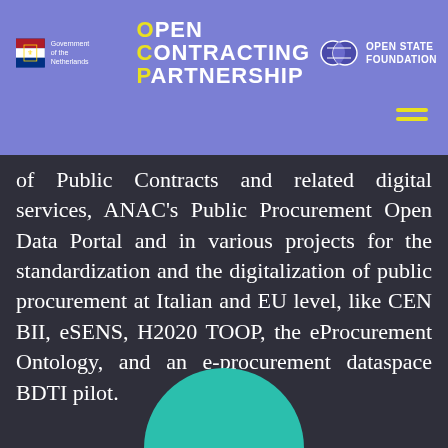[Figure (logo): Page header with Government of the Netherlands logo, Open Contracting Partnership logo, and Open State Foundation logo on purple background]
of Public Contracts and related digital services, ANAC's Public Procurement Open Data Portal and in various projects for the standardization and the digitalization of public procurement at Italian and EU level, like CEN BII, eSENS, H2020 TOOP, the eProcurement Ontology, and an e-procurement dataspace BDTI pilot.